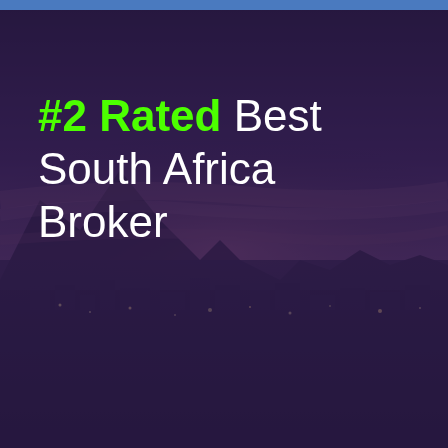[Figure (photo): Aerial night/dusk photograph of a South African city (likely Cape Town or Johannesburg) with a purple-tinted overlay showing city lights in the distance, mountains silhouetted against a twilight sky.]
#2 Rated Best South Africa Broker